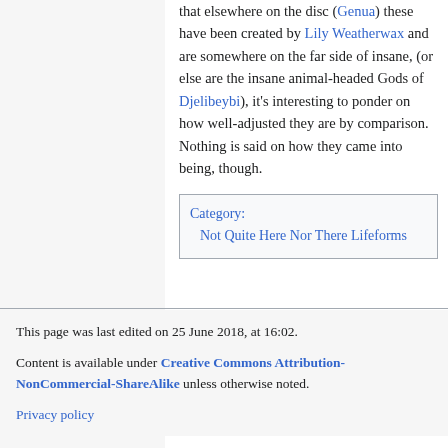that elsewhere on the disc (Genua) these have been created by Lily Weatherwax and are somewhere on the far side of insane, (or else are the insane animal-headed Gods of Djelibeybi), it's interesting to ponder on how well-adjusted they are by comparison. Nothing is said on how they came into being, though.
| Category: | Not Quite Here Nor There Lifeforms |
This page was last edited on 25 June 2018, at 16:02.

Content is available under Creative Commons Attribution-NonCommercial-ShareAlike unless otherwise noted.

Privacy policy